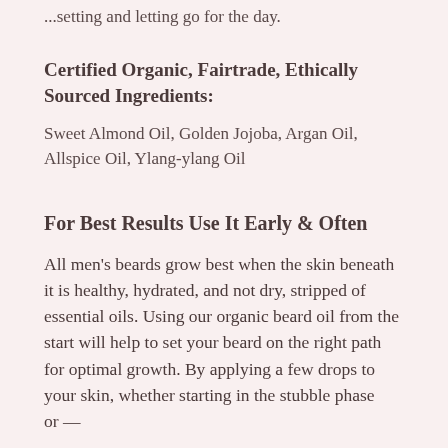...setting and letting go for the day.
Certified Organic, Fairtrade, Ethically Sourced Ingredients:
Sweet Almond Oil, Golden Jojoba, Argan Oil, Allspice Oil, Ylang-ylang Oil
For Best Results Use It Early & Often
All men's beards grow best when the skin beneath it is healthy, hydrated, and not dry, stripped of essential oils. Using our organic beard oil from the start will help to set your beard on the right path for optimal growth. By applying a few drops to your skin, whether starting in the stubble phase or...